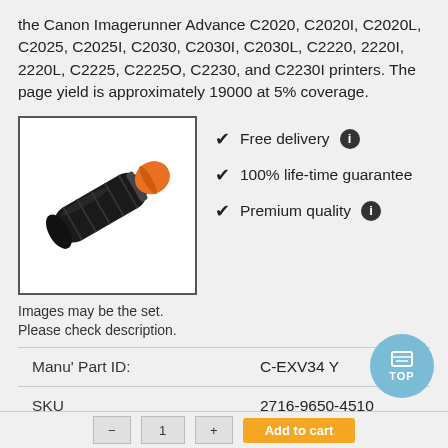the Canon Imagerunner Advance C2020, C2020I, C2020L, C2025, C2025I, C2030, C2030I, C2030L, C2220, 2220I, 2220L, C2225, C2225O, C2230, and C2230I printers. The page yield is approximately 19000 at 5% coverage.
[Figure (photo): Black toner cartridge with orange cap for Canon Imagerunner Advance printers]
✔ Free delivery ℹ
✔ 100% life-time guarantee
✔ Premium quality ℹ
Images may be the set. Please check description.
| Manu' Part ID: | C-EXV34 Y |
| SKU | 2716-9650-4510 |